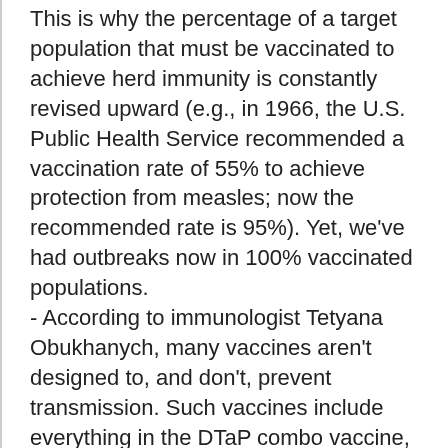This is why the percentage of a target population that must be vaccinated to achieve herd immunity is constantly revised upward (e.g., in 1966, the U.S. Public Health Service recommended a vaccination rate of 55% to achieve protection from measles; now the recommended rate is 95%). Yet, we've had outbreaks now in 100% vaccinated populations.
- According to immunologist Tetyana Obukhanych, many vaccines aren't designed to, and don't, prevent transmission. Such vaccines include everything in the DTaP combo vaccine, as well as the IPV and the Hep B vaccines. In addition, the Hib vaccine has shifted strain dominance away from type b so that the vaccine is of very little value. This makes the pressure to get these vaccines (based on herd immunity) even more absurd.
- Vaccine proponents will split legal hairs